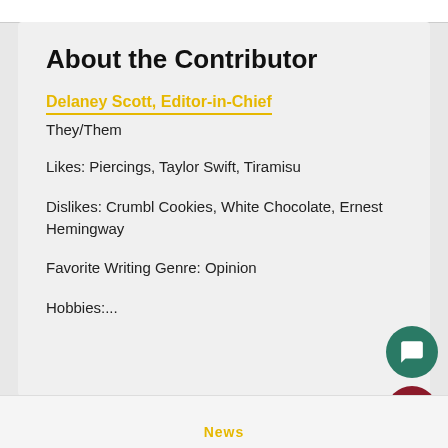About the Contributor
Delaney Scott, Editor-in-Chief
They/Them
Likes: Piercings, Taylor Swift, Tiramisu
Dislikes: Crumbl Cookies, White Chocolate, Ernest Hemingway
Favorite Writing Genre: Opinion
Hobbies:...